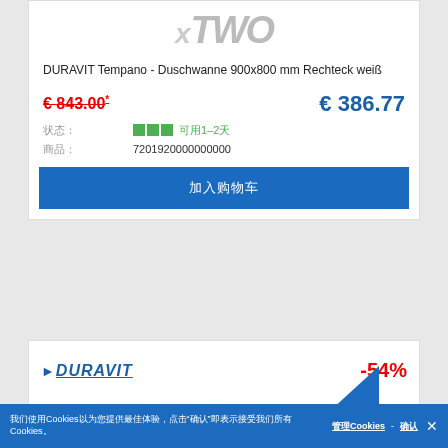[Figure (logo): xTWO brand logo in grey stylized text]
DURAVIT Tempano - Duschwanne 900x800 mm Rechteck weiß
€ 843.00* (strikethrough)   € 386.77
三绿色方块 可用 (status: available) 7201920000000000 (EAN)
购物车按钮
[Figure (logo): Duravit brand logo with -54% discount badge]
Cookie consent bar: 我们使用Cookies以提供最佳体验，点击"确认"即表示接受我们所有Cookies。 管理Cookies - 确认 ×